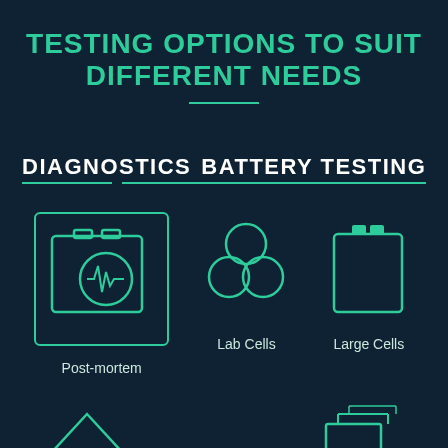TESTING OPTIONS TO SUIT DIFFERENT NEEDS
DIAGNOSTICS
BATTERY TESTING
[Figure (infographic): Infographic showing battery testing options: Post-mortem (highlighted card with battery icon and heartbeat symbol), Lab Cells (three circles icon), Large Cells (large battery icon). Bottom row partially visible with two more icons.]
Post-mortem
Lab Cells
Large Cells